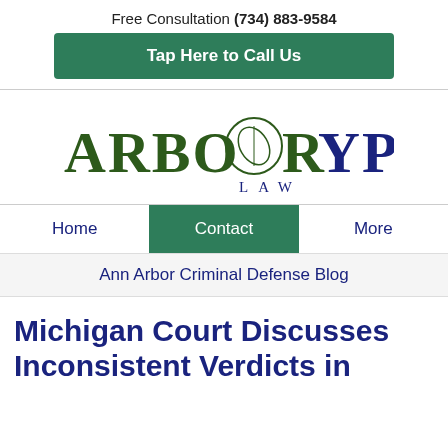Free Consultation (734) 883-9584
Tap Here to Call Us
[Figure (logo): ArborYpsi Law logo with leaf icon, green and dark blue serif text]
Home | Contact | More
Ann Arbor Criminal Defense Blog
Michigan Court Discusses Inconsistent Verdicts in